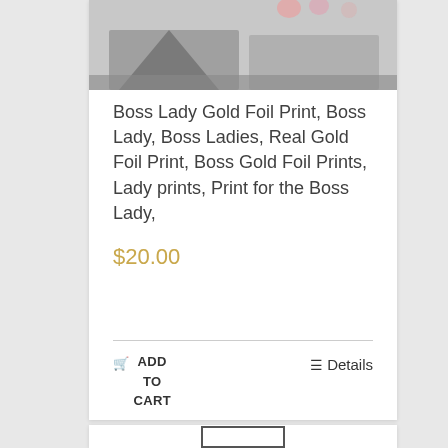[Figure (photo): Product image thumbnail at top of card, partially visible, grey/silver tones with hints of pink at top]
Boss Lady Gold Foil Print, Boss Lady, Boss Ladies, Real Gold Foil Print, Boss Gold Foil Prints, Lady prints, Print for the Boss Lady,
$20.00
☰ Details
🛒 ADD TO CART
[Figure (screenshot): Bottom of second product card showing a rectangular border outline]